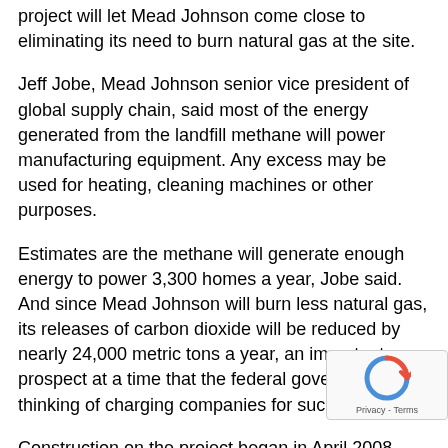project will let Mead Johnson come close to eliminating its need to burn natural gas at the site.
Jeff Jobe, Mead Johnson senior vice president of global supply chain, said most of the energy generated from the landfill methane will power manufacturing equipment. Any excess may be used for heating, cleaning machines or other purposes.
Estimates are the methane will generate enough energy to power 3,300 homes a year, Jobe said. And since Mead Johnson will burn less natural gas, its releases of carbon dioxide will be reduced by nearly 24,000 metric tons a year, an important prospect at a time that the federal government is thinking of charging companies for such emissions.
Construction on the project began in April 2008. The pipeline was taken from the landfill site on Evansville's North side and burrowed a number of city streets, including St. Joseph Avenue, Maryland Street and Indiana Street.